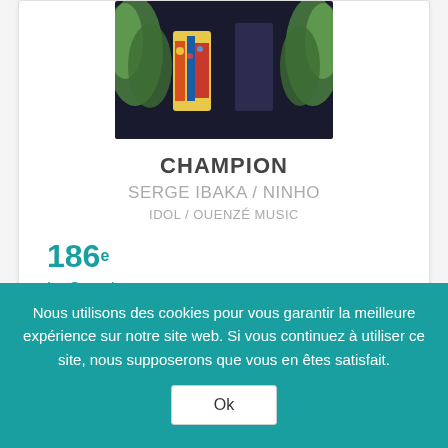[Figure (illustration): Album artwork showing two figures in colorful African-inspired clothing with a dark background and green foliage]
CHAMPION
SERGE IBAKA / NINHO
IDOL / OUENZÉ MUSIC
186e La Semaine Dernière
[Figure (logo): Streaming service icons: Deezer, Apple Music, Qobuz]
Nous utilisons des cookies pour vous garantir la meilleure expérience sur notre site web. Si vous continuez à utiliser ce site, nous supposerons que vous en êtes satisfait.